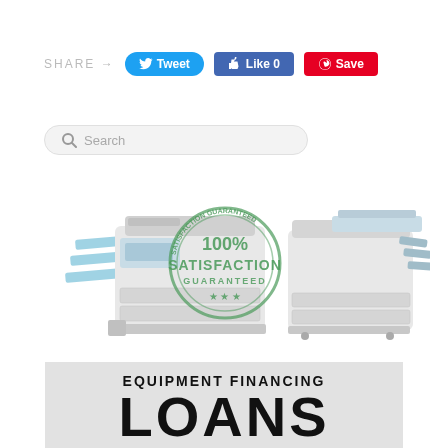[Figure (screenshot): Social share bar with SHARE label, Tweet button (blue), Like 0 button (blue), and Save button (red/Pinterest)]
[Figure (screenshot): Search bar with magnifying glass icon and placeholder text 'Search']
[Figure (photo): Two office copier/multifunction printer machines flanking a green circular '100% Satisfaction Guaranteed' stamp seal]
[Figure (infographic): Light gray banner with text 'EQUIPMENT FINANCING' above large bold 'LOANS' text]